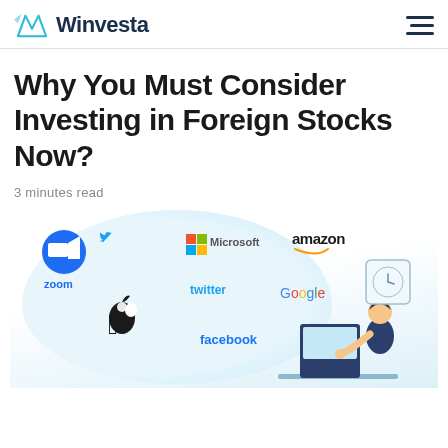Winvesta
Why You Must Consider Investing in Foreign Stocks Now?
3 minutes read
[Figure (illustration): Illustration showing tech company logos (Zoom, Microsoft, Amazon, Twitter, Google, Apple, Facebook) floating in a bubble, with a person sitting at a laptop on the right side and a clock icon in the corner.]